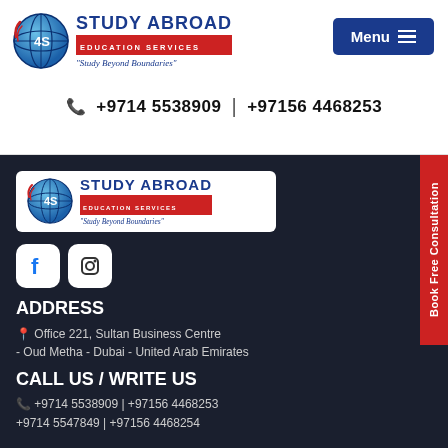[Figure (logo): Study Abroad Education Services logo with globe icon, blue text, red subtitle bar, and italic tagline 'Study Beyond Boundaries']
Menu
+9714 5538909 | +97156 4468253
[Figure (logo): Study Abroad Education Services footer logo on white background]
[Figure (illustration): Facebook and Instagram social media icons]
ADDRESS
Office 221, Sultan Business Centre - Oud Metha - Dubai - United Arab Emirates
CALL US / WRITE US
+9714 5538909 | +97156 4468253
+9714 5547849 | +97156 4468254
Book Free Consultation